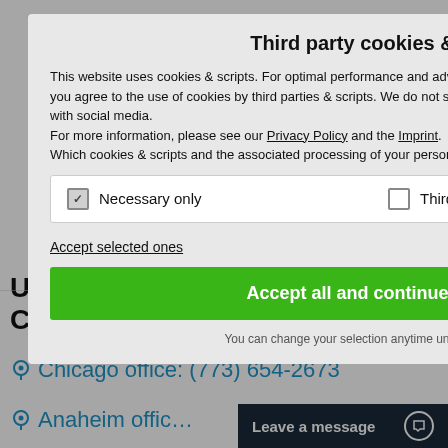Third party cookies & scripts
This website uses cookies & scripts. For optimal performance and advertisement purposes it is recommended that you agree to the use of cookies by third parties & scripts. We do not share information about your use of our website with social media.
For more information, please see our Privacy Policy and the Imprint.
Which cookies & scripts and the associated processing of your personal data do you agree to?
Necessary only   Third-party
Accept selected ones
Accept all and continue
You can change your selection anytime under Privacy Policy .
USA:China Certification Corporation
Chicago office: (773) 654-2673
Anaheim offic…
Leave a message